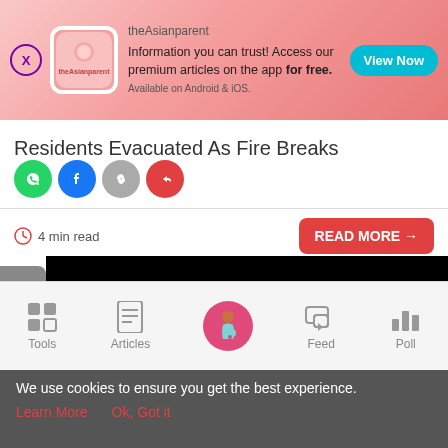[Figure (screenshot): theAsianparent app advertisement banner with close button, logo, text and View Now button]
Residents Evacuated As Fire Breaks
4 min read
[Figure (screenshot): READ MORE button and carousel with black overlay video/image panel]
Mum Disco...
[Figure (screenshot): Bottom navigation bar with Tools, Articles, home (pregnant woman), Feed, Poll icons]
We use cookies to ensure you get the best experience.
Learn More   Ok, Got it